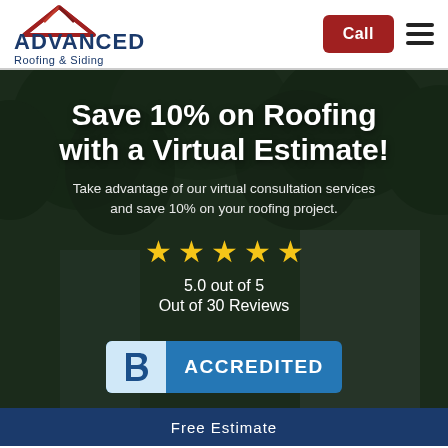[Figure (logo): Advanced Roofing & Siding logo with red roof icon and blue text]
Call
Save 10% on Roofing with a Virtual Estimate!
Take advantage of our virtual consultation services and save 10% on your roofing project.
[Figure (other): Five gold stars rating display]
5.0 out of 5
Out of 30 Reviews
[Figure (logo): BBB Accredited Business badge]
Free Estimate